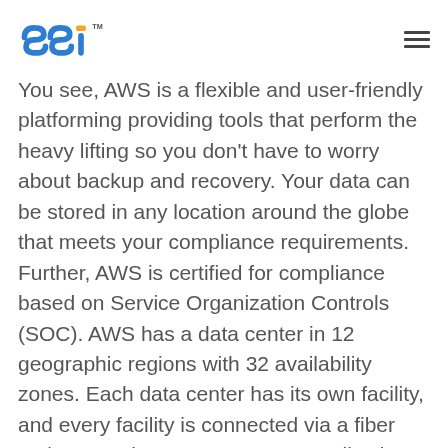SSI logo and navigation
You see, AWS is a flexible and user-friendly platforming providing tools that perform the heavy lifting so you don't have to worry about backup and recovery. Your data can be stored in any location around the globe that meets your compliance requirements. Further, AWS is certified for compliance based on Service Organization Controls (SOC). AWS has a data center in 12 geographic regions with 32 availability zones. Each data center has its own facility, and every facility is connected via a fiber optic network so you can store applications in multiple availability zones.